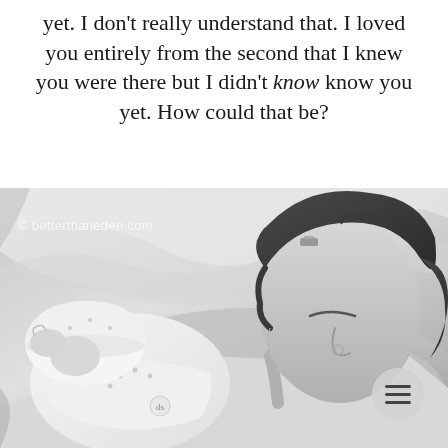yet. I don't really understand that. I loved you entirely from the second that I knew you were there but I didn't know know you yet. How could that be?
[Figure (photo): Black and white photograph of a mother lying in a hospital bed holding her newborn baby. The mother has curly dark hair with a small decorative clip, eyes closed, resting her face near the baby. The newborn is wearing a white onesie and a small white hat with dots. A watermark reads 'betterthaneden.com'. A circular menu button appears in the lower right corner.]